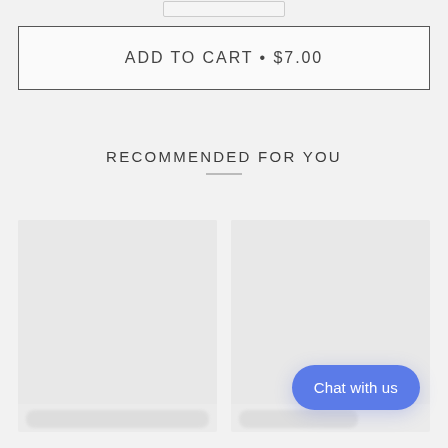[Figure (screenshot): Add to Cart button with price $7.00, outlined rectangle button]
RECOMMENDED FOR YOU
[Figure (screenshot): Two product image placeholder cards shown side by side in a recommended products grid, with blurred product label text beneath each]
Chat with us